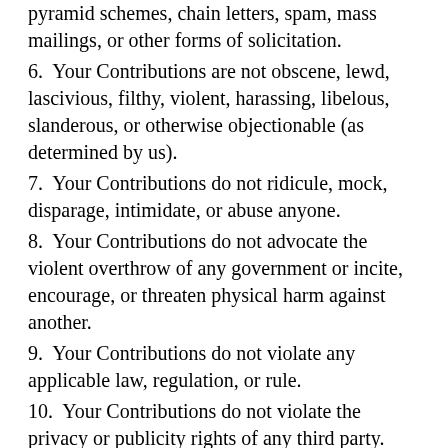pyramid schemes, chain letters, spam, mass mailings, or other forms of solicitation.
6.  Your Contributions are not obscene, lewd, lascivious, filthy, violent, harassing, libelous, slanderous, or otherwise objectionable (as determined by us).
7.  Your Contributions do not ridicule, mock, disparage, intimidate, or abuse anyone.
8.  Your Contributions do not advocate the violent overthrow of any government or incite, encourage, or threaten physical harm against another.
9.  Your Contributions do not violate any applicable law, regulation, or rule.
10.  Your Contributions do not violate the privacy or publicity rights of any third party.
11.  Your Contributions do not contain any material that solicits personal information from anyone under the age of 18 or exploits people under the age of 18 in a sexual or violent manner.